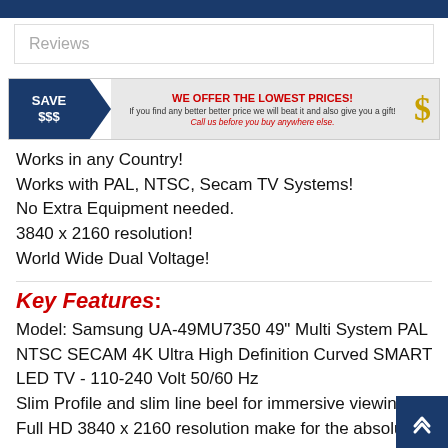Reviews
[Figure (infographic): Advertisement banner: SAVE $$$ with arrow, WE OFFER THE LOWEST PRICES! text, If you find any better better price we will beat it and also give you a gift! Call us before you buy anywhere else. Dollar sign icon.]
Works in any Country!
Works with PAL, NTSC, Secam TV Systems!
No Extra Equipment needed.
3840 x 2160 resolution!
World Wide Dual Voltage!
Key Features:
Model: Samsung UA-49MU7350 49" Multi System PAL NTSC SECAM 4K Ultra High Definition Curved SMART LED TV - 110-240 Volt 50/60 Hz
Slim Profile and slim line beel for immersive viewing
Full HD 3840 x 2160 resolution make for the absolute